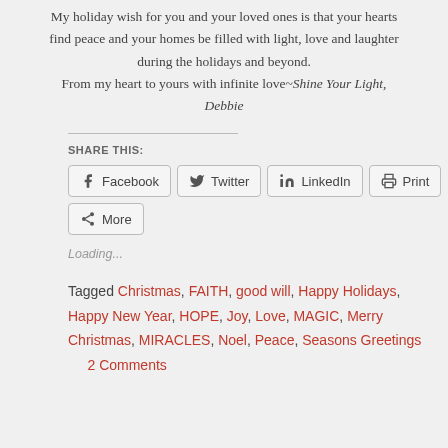My holiday wish for you and your loved ones is that your hearts find peace and your homes be filled with light, love and laughter during the holidays and beyond. From my heart to yours with infinite love~Shine Your Light, Debbie
SHARE THIS:
Facebook  Twitter  LinkedIn  Print  More
Loading...
Tagged Christmas, FAITH, good will, Happy Holidays, Happy New Year, HOPE, Joy, Love, MAGIC, Merry Christmas, MIRACLES, Noel, Peace, Seasons Greetings    2 Comments